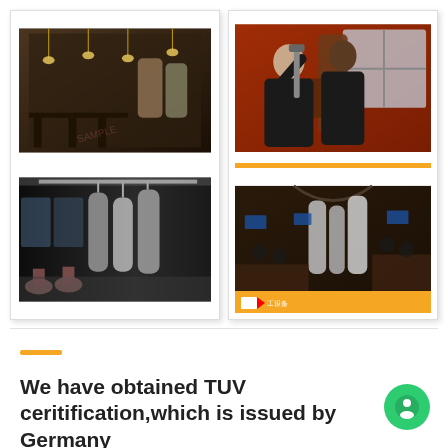[Figure (photo): Collage of four brewery/restaurant interior and worker photos arranged in two panels]
We have obtained TUV ceritification,which is issued by Germany